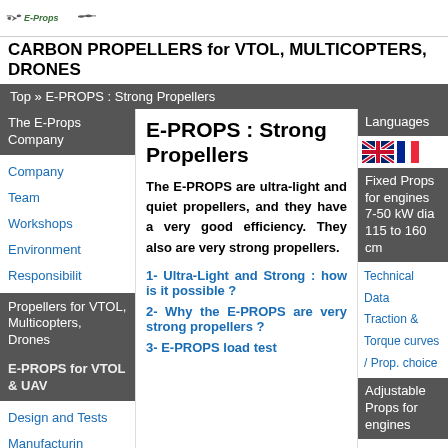E-Props (logo)
CARBON PROPELLERS for VTOL, MULTICOPTERS, DRONES
Top » E-PROPS : Strong Propellers
The E-Props Company
Company
Team
Workshops
Environment
Responsibility
Propellers for VTOL, Multicopters, Drones
E-PROPS for VTOL & UAV
Design and Tests
Manufacturing
E-PROPS : Strong Propellers
The E-PROPS are ultra-light and quiet propellers, and they have a very good efficiency. They also are very strong propellers.
1- Ultra-Light and Strong : how is it possible ?
2- Why the E-PROPS are very strong propellers ?
3- E-PROPS load test
Languages
Fixed Props for engines 7-50 kW dia 115 to 160 cm
Technical Data
Traction & Torque curves / Prop. choice
Adjustable Props for engines